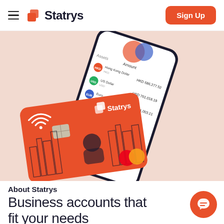Statrys — Sign Up
[Figure (screenshot): Statrys mobile app and business Mastercard on a salmon/peach background. The phone screen shows a multi-currency account dashboard with balances: HKD 686,277.52, USD 761,018.19, CHF 341,003.11, and an EUR row. The card is coral/orange with Statrys branding and a Hong Kong cityscape illustration with a figure, and Mastercard logo in bottom right.]
About Statrys
Business accounts that fit your needs